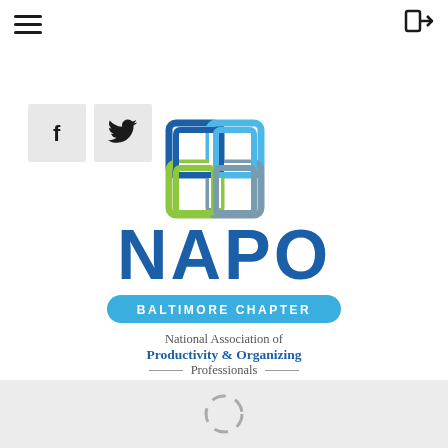[Figure (screenshot): Top navigation bar with hamburger menu (three horizontal lines) on left and login arrow icon on right]
[Figure (screenshot): Social media buttons: Facebook (f) and Twitter (bird icon) in light gray square buttons]
[Figure (logo): NAPO Baltimore Chapter logo. Interlocking rounded rectangles in blue, green, and gray above the text NAPO in large bold dark blue letters. Below: a teal rounded rectangle badge reading BALTIMORE CHAPTER. Below that: National Association of Productivity & Organizing Professionals in serif font.]
[Figure (other): Gray loading/spinner icon (dashed circle) centered in a light gray bottom bar]